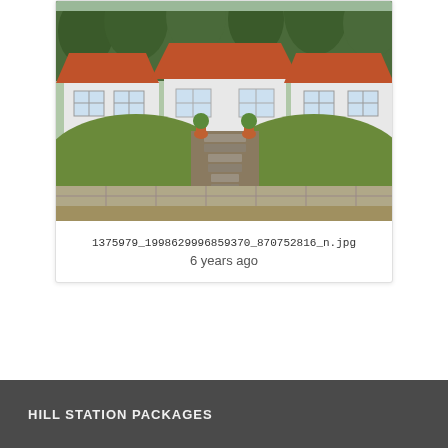[Figure (photo): Photograph of a white hill station cottage with red tiled roofs, green grassy mounds on either side, and stone steps leading up to the entrance. Trees visible in the background.]
1375979_1998629996859370_870752816_n.jpg
6 years ago
Showing 14 results
HILL STATION PACKAGES